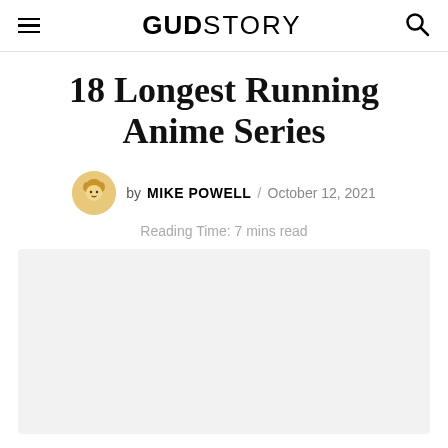GUDSTORY
18 Longest Running Anime Series
by MIKE POWELL / October 12, 2021
Reading Time: 7 mins read
[Figure (photo): Large hero image placeholder with light grey background, partially visible at bottom of page.]